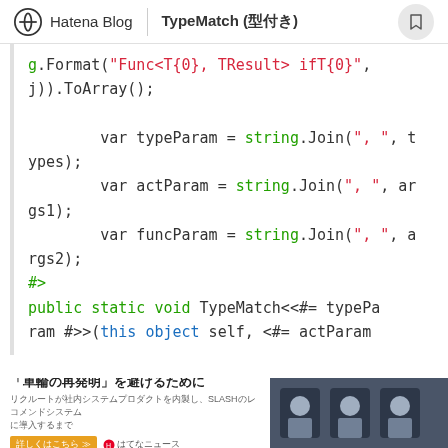Hatena Blog | TypeMatch (型付き)
g.Format("Func<T{0}, TResult> ifT{0}", j)).ToArray();

        var typeParam = string.Join(", ", types);
        var actParam = string.Join(", ", args1);
        var funcParam = string.Join(", ", args2);
#>
public static void TypeMatch<<#= typeParam #>>(this object self, <#= actParam
[Figure (screenshot): Advertisement banner at the bottom: '「車輪の再発明」を避けるために' with image of people]